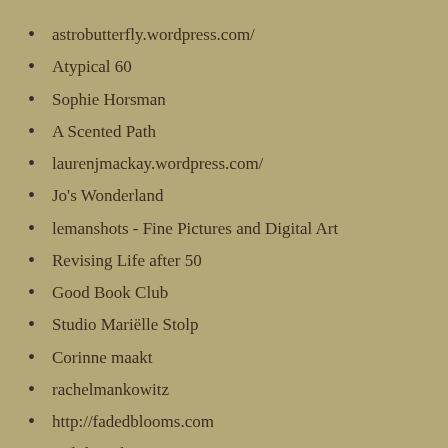astrobutterfly.wordpress.com/
Atypical 60
Sophie Horsman
A Scented Path
laurenjmackay.wordpress.com/
Jo's Wonderland
lemanshots - Fine Pictures and Digital Art
Revising Life after 50
Good Book Club
Studio Mariëlle Stolp
Corinne maakt
rachelmankowitz
http://fadedblooms.com
Judith Liebaert